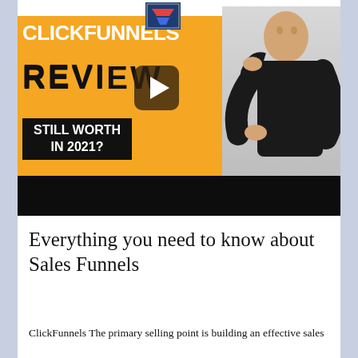[Figure (screenshot): ClickFunnels Review video thumbnail with orange background showing 'CLICKFUNNELS REVIEW' text, 'STILL WORTH IN 2021?' subtitle on black banner, a play button, and a man in black standing to the right. A ClickFunnels logo icon appears at the top center. A black bar at the bottom.]
Everything you need to know about Sales Funnels
ClickFunnels The primary selling point is building an effective sales